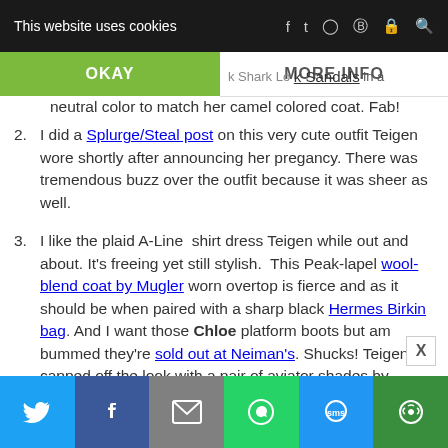This website uses cookies | OKAY | MORE INFO
neutral color to match her camel colored coat. Fab!
2. I did a Splurge/Steal post on this very cute outfit Teigen wore shortly after announcing her pregancy. There was tremendous buzz over the outfit because it was sheer as well.
3. I like the plaid A-Line shirt dress Teigen while out and about. It’s freeing yet still stylish. This Peak-lapel wool-blend coat by Mugler worn overtop is fierce and as it should be when paired with a sharp black Hermes Birkin bag. And I want those Chloe platform boots but am bummed they’re sold out at Neiman’s. Shucks! Teigen capped off the look with a pair of aviator shades by
Twitter | Facebook | Email | WhatsApp | SMS | More